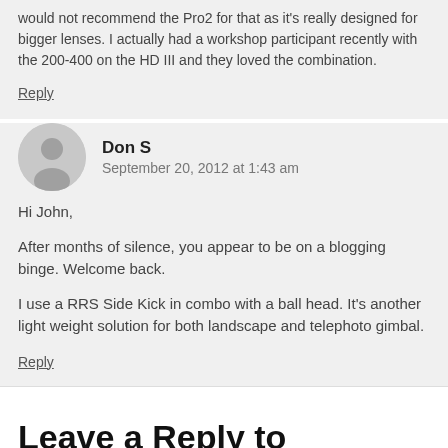would not recommend the Pro2 for that as it's really designed for bigger lenses. I actually had a workshop participant recently with the 200-400 on the HD III and they loved the combination.
Reply
Don S
September 20, 2012 at 1:43 am
Hi John,
After months of silence, you appear to be on a blogging binge. Welcome back.
I use a RRS Side Kick in combo with a ball head. It's another light weight solution for both landscape and telephoto gimbal.
Reply
Leave a Reply to BloggerBob
Cancel reply
Your email address will not be published. Required fields are marked *